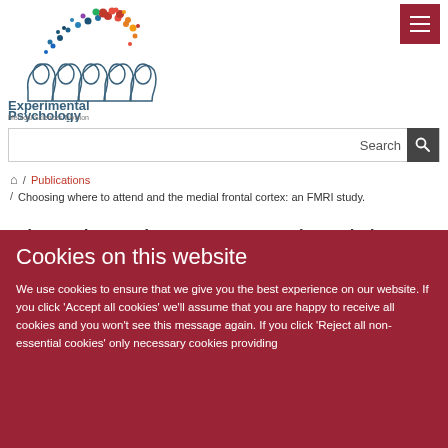[Figure (logo): Experimental Psychology, Medical Sciences Division logo with colorful dots forming a brain shape above outline silhouettes of human heads]
Search
🏠 / Publications / Choosing where to attend and the medial frontal cortex: an FMRI study.
Choosing where to attend and the medial
Cookies on this website
We use cookies to ensure that we give you the best experience on our website. If you click 'Accept all cookies' we'll assume that you are happy to receive all cookies and you won't see this message again. If you click 'Reject all non-essential cookies' only necessary cookies providing